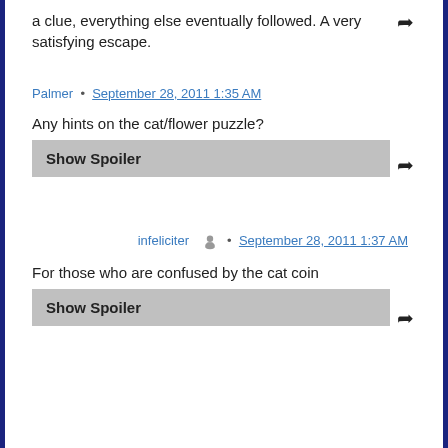a clue, everything else eventually followed. A very satisfying escape.
Palmer • September 28, 2011 1:35 AM
Any hints on the cat/flower puzzle?
Show Spoiler
infeliciter • September 28, 2011 1:37 AM
For those who are confused by the cat coin
Show Spoiler